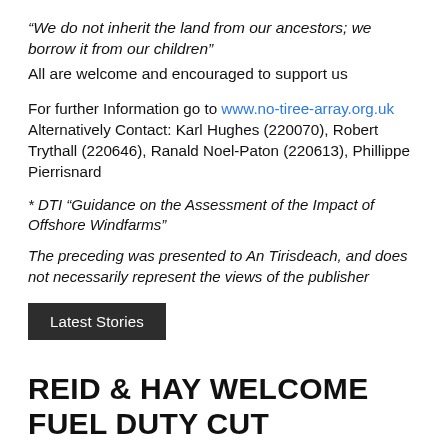“We do not inherit the land from our ancestors; we borrow it from our children”
All are welcome and encouraged to support us
For further Information go to www.no-tiree-array.org.uk Alternatively Contact: Karl Hughes (220070), Robert Trythall (220646), Ranald Noel-Paton (220613), Phillippe Pierrisnard
* DTI “Guidance on the Assessment of the Impact of Offshore Windfarms”
The preceding was presented to An Tirisdeach, and does not necessarily represent the views of the publisher
Latest Stories
REID & HAY WELCOME FUEL DUTY CUT